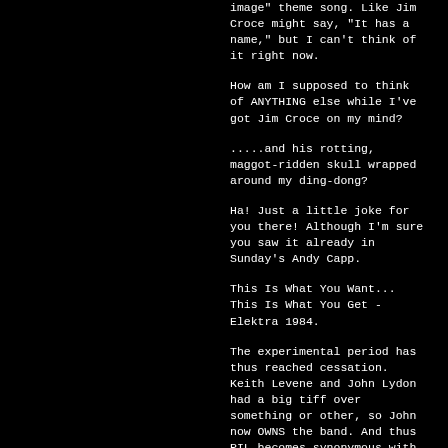image" theme song. Like Jim Croce might say, "It has a name," but I can't think of it right now.
How am I supposed to think of ANYTHING else while I've got Jim Croce on my mind?
.....and his rotting, maggot-ridden skull wrapped around my ding-dong?
Ha! Just a little joke for you there! Although I'm sure you saw it already in Sunday's Andy Capp.
This Is What You Want... This Is What You Get - Elektra 1984.
The experimental period has thus reached cessation. Keith Levene and John Lydon had a big tiff over something or other, so John now OWNS the band. And thus PIL becomes synonymous with John Lydon from this point on. Luckily, although he may not be the most adventurous character in the world anymore, he still loves a good melody! Yes, he would probably